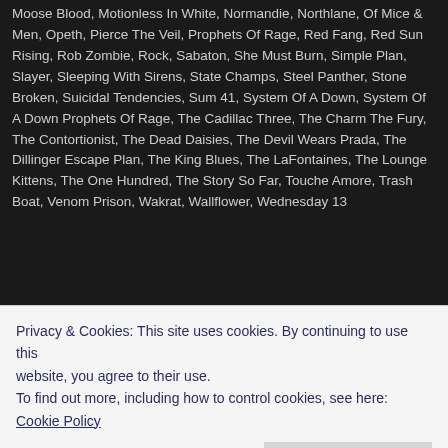Moose Blood, Motionless In White, Normandie, Northlane, Of Mice & Men, Opeth, Pierce The Veil, Prophets Of Rage, Red Fang, Red Sun Rising, Rob Zombie, Rock, Sabaton, She Must Burn, Simple Plan, Slayer, Sleeping With Sirens, State Champs, Steel Panther, Stone Broken, Suicidal Tendencies, Sum 41, System Of A Down, System Of A Down Prophets Of Rage, The Cadillac Three, The Charm The Fury, The Contortionist, The Dead Daisies, The Devil Wears Prada, The Dillinger Escape Plan, The King Blues, The LaFontaines, The Lounge Kittens, The One Hundred, The Story So Far, Touche Amore, Trash Boat, Venom Prison, Wakrat, Wallflower, Wednesday 13
She Must Burn To Release New Album “Grimoire” In Marc
Posted by caemenamelio on February 1, 2017
She Must Burn have announced that their new album “Grimoire” will be relea... cover art for the effort can be found below, and it can be preordered HERE.
Privacy & Cookies: This site uses cookies. By continuing to use this website, you agree to their use. To find out more, including how to control cookies, see here: Cookie Policy